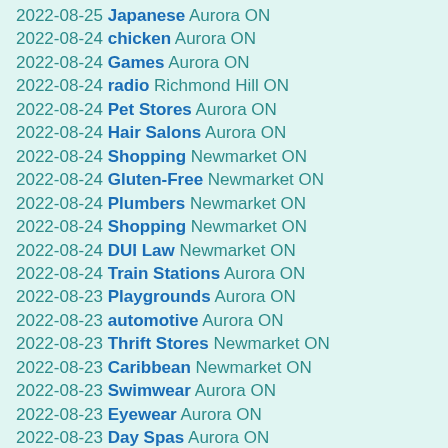2022-08-25 Japanese Aurora ON
2022-08-24 chicken Aurora ON
2022-08-24 Games Aurora ON
2022-08-24 radio Richmond Hill ON
2022-08-24 Pet Stores Aurora ON
2022-08-24 Hair Salons Aurora ON
2022-08-24 Shopping Newmarket ON
2022-08-24 Gluten-Free Newmarket ON
2022-08-24 Plumbers Newmarket ON
2022-08-24 Shopping Newmarket ON
2022-08-24 DUI Law Newmarket ON
2022-08-24 Train Stations Aurora ON
2022-08-23 Playgrounds Aurora ON
2022-08-23 automotive Aurora ON
2022-08-23 Thrift Stores Newmarket ON
2022-08-23 Caribbean Newmarket ON
2022-08-23 Swimwear Aurora ON
2022-08-23 Eyewear Aurora ON
2022-08-23 Day Spas Aurora ON
2022-08-23 Stadiums Richmond Hill ON
2022-08-23 Sauna Installation Aurora ON
2022-08-23 Brazilian Richmond Hill ON
2022-08-23 Asian Fusion Aurora ON